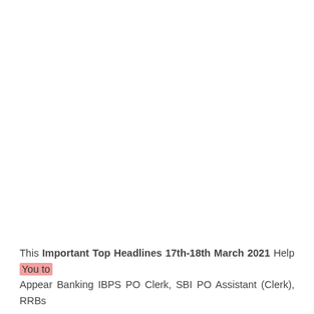This Important Top Headlines 17th-18th March 2021 Help You to Appear Banking IBPS PO Clerk, SBI PO Assistant (Clerk), RRBs